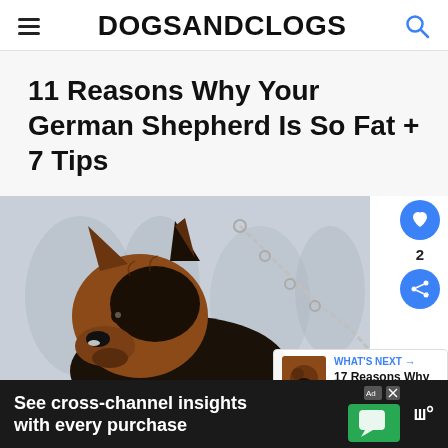DOGSANDCLOGS
11 Reasons Why Your German Shepherd Is So Fat + 7 Tips
[Figure (photo): German Shepherd dog on a chain leash in a snowy outdoor setting, looking to the side]
WHAT'S NEXT → 17 Reasons Why Your...
See cross-channel insights with every purchase